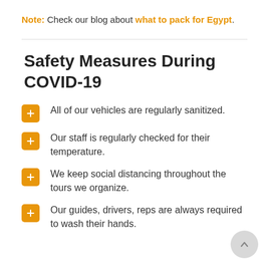Note: Check our blog about what to pack for Egypt.
Safety Measures During COVID-19
All of our vehicles are regularly sanitized.
Our staff is regularly checked for their temperature.
We keep social distancing throughout the tours we organize.
Our guides, drivers, reps are always required to wash their hands.